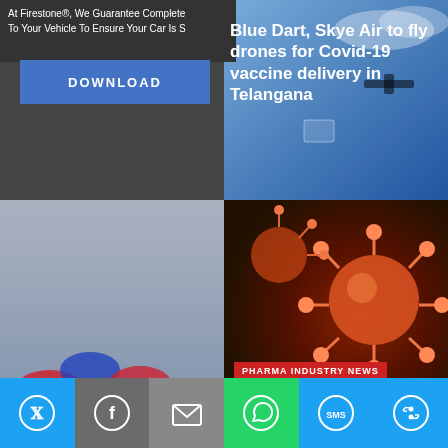At Firestone®, We Guarantee Complete To Your Vehicle To Ensure Your Car Is S
DOWNLOAD
Blue Dart, Skye Air to fly drones for Covid-19 vaccine delivery in Telangana
[Figure (photo): Photo of pharmaceutical vaccine vials with red and blue caps]
PHARMA INDUSTRY NEWS
Panacea Biotec supplies first shipment of Sputnik V second component produced in India
September 7, 2021
[Figure (photo): Photo of coronavirus particles (3D rendering) with red spiky virus models on dark background]
PHARMA INDUSTRY NEWS
Bajaj Healthcare launches Covid drug 2-DG under DGJAJ brand
[Figure (photo): Photo of a cream/medicine jar on purple gradient background]
Twitter | Facebook | Email | WhatsApp | SMS | More